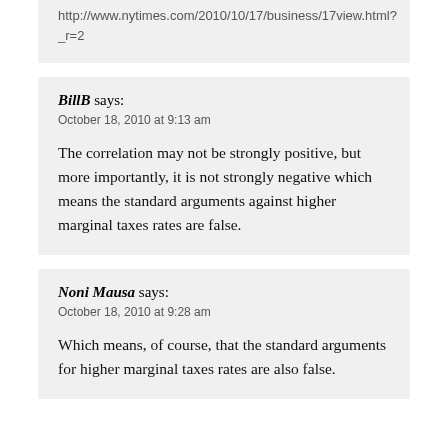http://www.nytimes.com/2010/10/17/business/17view.html?_r=2
BillB says:
October 18, 2010 at 9:13 am
The correlation may not be strongly positive, but more importantly, it is not strongly negative which means the standard arguments against higher marginal taxes rates are false.
Noni Mausa says:
October 18, 2010 at 9:28 am
Which means, of course, that the standard arguments for higher marginal taxes rates are also false.